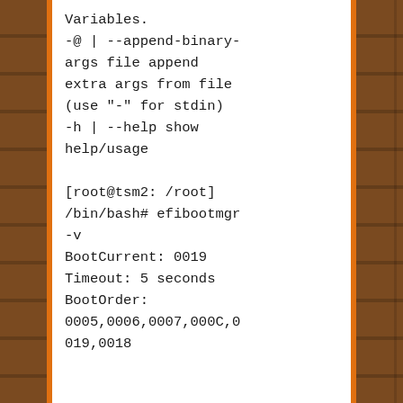Variables.
-@ | --append-binary-args file append extra args from file (use "-" for stdin)
-h | --help show help/usage

[root@tsm2: /root] /bin/bash# efibootmgr -v
BootCurrent: 0019
Timeout: 5 seconds
BootOrder:
0005,0006,0007,000C,0019,0018